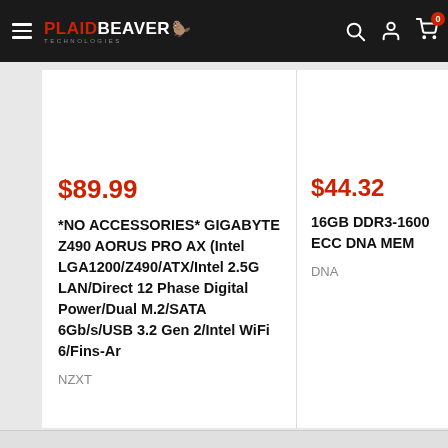[Figure (logo): PlaidBeaver Technologies logo with hamburger menu on dark navigation bar]
$89.99
*NO ACCESSORIES* GIGABYTE Z490 AORUS PRO AX (Intel LGA1200/Z490/ATX/Intel 2.5G LAN/Direct 12 Phase Digital Power/Dual M.2/SATA 6Gb/s/USB 3.2 Gen 2/Intel WiFi 6/Fins-Ar
NZXT
$44.32
16GB DDR3-1600 ECC DNA MEM
DNA